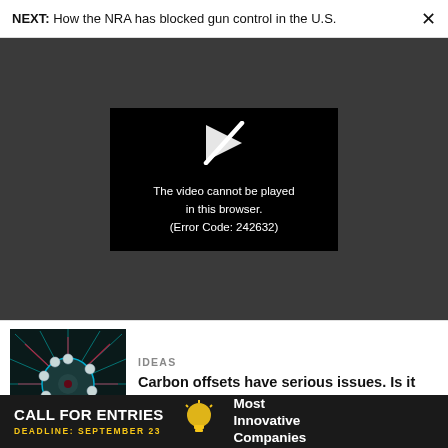NEXT: How the NRA has blocked gun control in the U.S.
[Figure (screenshot): Video player error screen on dark grey background. Black rectangle with a broken/slashed play icon and white text reading: The video cannot be played in this browser. (Error Code: 242632)]
The video cannot be played in this browser. (Error Code: 242632)
[Figure (photo): Thumbnail image of a virus/cell particle with cyan and red spiky appearance on dark background]
IDEAS
Carbon offsets have serious issues. Is it even possible to fix them?
[Figure (other): Advertisement banner: CALL FOR ENTRIES, DEADLINE: SEPTEMBER 23, Most Innovative Companies]